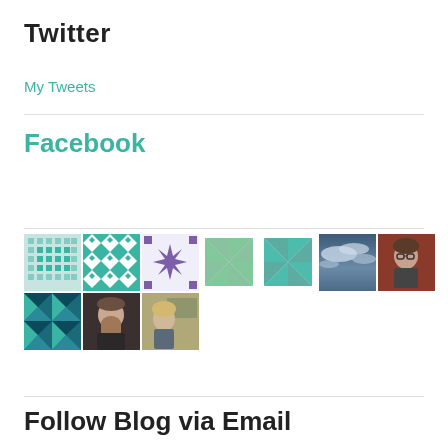Twitter
My Tweets
Facebook
[Figure (photo): A grid of 10 Facebook profile thumbnail images: quilt pattern tiles, a sky photo, and profile photos of people.]
Follow Blog via Email